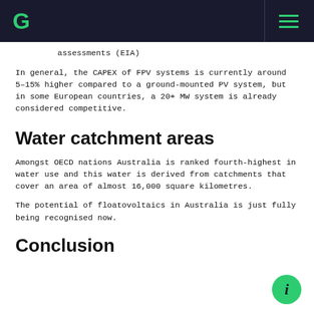G [logo] [hamburger menu]
assessments (EIA)
In general, the CAPEX of FPV systems is currently around 5–15% higher compared to a ground-mounted PV system, but in some European countries, a 20+ MW system is already considered competitive.
Water catchment areas
Amongst OECD nations Australia is ranked fourth-highest in water use and this water is derived from catchments that cover an area of almost 16,000 square kilometres.
The potential of floatovoltaics in Australia is just fully being recognised now.
Conclusion